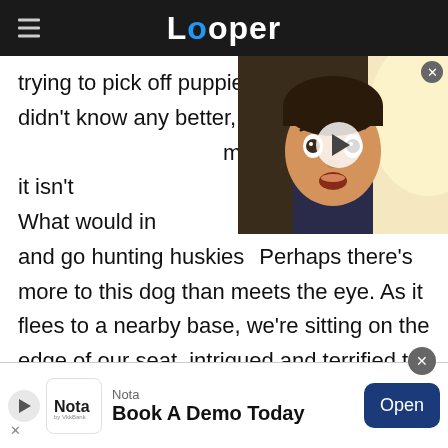Looper
trying to pick off puppies. In fact, if we didn't know any better, we'd say this guy monster. But maybe it isn't like an alien. What would ins gun and go hunting huskies Perhaps there's more to this dog than meets the eye. As it flees to a nearby base, we're sitting on the edge of our seat, intrigued and terrified to see what will happen with this creepy canine.
[Figure (screenshot): Video thumbnail of a man with a surprised expression, with a play button overlay]
[Figure (infographic): Advertisement banner for Nota - Book A Demo Today with an Open button]